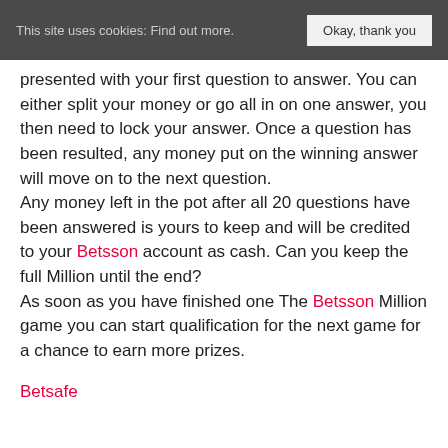This site uses cookies: Find out more. Okay, thank you
presented with your first question to answer. You can either split your money or go all in on one answer, you then need to lock your answer. Once a question has been resulted, any money put on the winning answer will move on to the next question.
Any money left in the pot after all 20 questions have been answered is yours to keep and will be credited to your Betsson account as cash. Can you keep the full Million until the end?
As soon as you have finished one The Betsson Million game you can start qualification for the next game for a chance to earn more prizes.
Betsafe